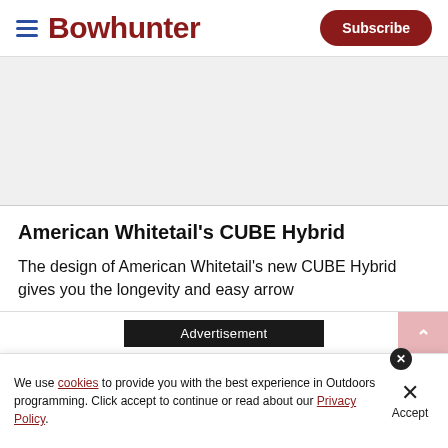Bowhunter  Subscribe
[Figure (photo): Article image placeholder, light gray background]
American Whitetail's CUBE Hybrid
The design of American Whitetail's new CUBE Hybrid gives you the longevity and easy arrow
Advertisement
We use cookies to provide you with the best experience in Outdoors programming. Click accept to continue or read about our Privacy Policy.